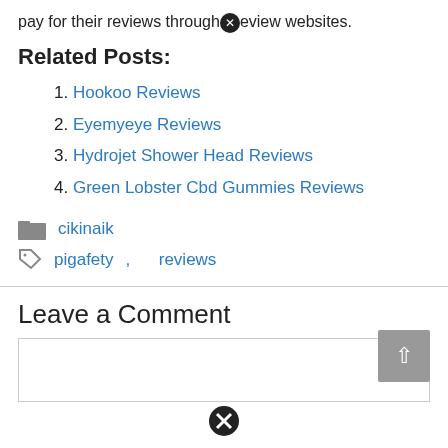pay for their reviews through review websites.
Related Posts:
1. Hookoo Reviews
2. Eyemyeye Reviews
3. Hydrojet Shower Head Reviews
4. Green Lobster Cbd Gummies Reviews
cikinaik
pigafety, reviews
Leave a Comment